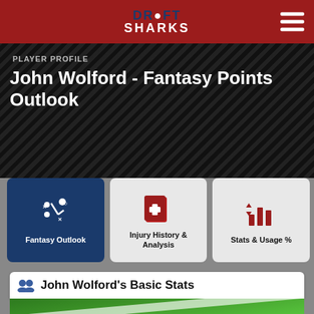DRAFT SHARKS
PLAYER PROFILE
John Wolford - Fantasy Points Outlook
Fantasy Outlook
Injury History & Analysis
Stats & Usage %
John Wolford's Basic Stats
[Figure (photo): Green football field close-up with white yard line markings]